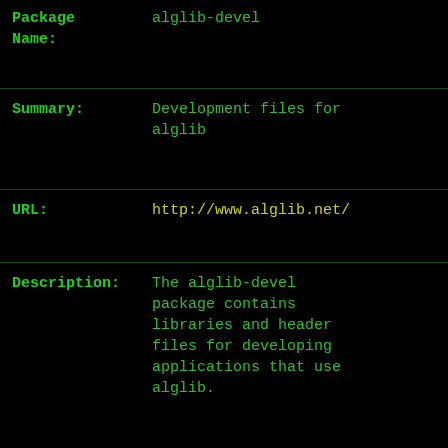Package Name: alglib-devel
Summary: Development files for alglib
URL: http://www.alglib.net/
Description: The alglib-devel package contains libraries and header files for developing applications that use alglib.
Architecture: x86_64